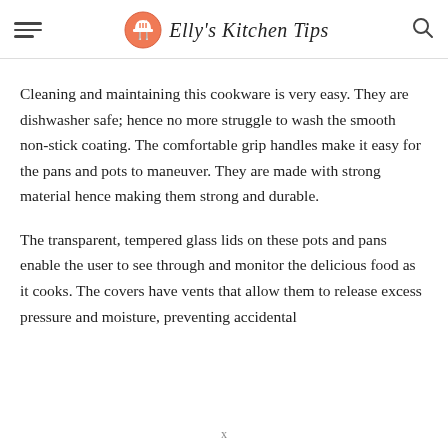Elly's Kitchen Tips
Cleaning and maintaining this cookware is very easy. They are dishwasher safe; hence no more struggle to wash the smooth non-stick coating. The comfortable grip handles make it easy for the pans and pots to maneuver. They are made with strong material hence making them strong and durable.
The transparent, tempered glass lids on these pots and pans enable the user to see through and monitor the delicious food as it cooks. The covers have vents that allow them to release excess pressure and moisture, preventing accidental